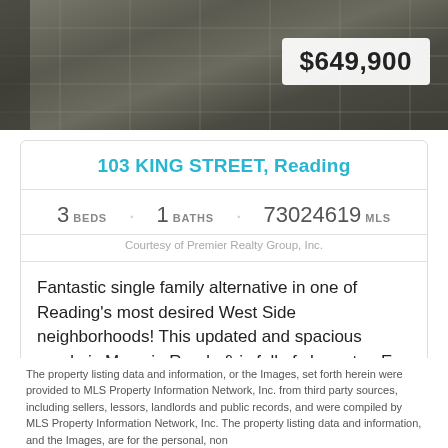[Figure (photo): Interior photo of a room with dark tile flooring, showing a hallway or entry area]
$649,900
103 KING STREET, Reading
3 BEDS  1 BATHS  73024619 MLS
Courtesy of Premier Realty Group, Inc.
Fantastic single family alternative in one of Reading's most desired West Side neighborhoods! This updated and spacious condo is Move in Ready & is full of character. E...
The property listing data and information, or the Images, set forth herein were provided to MLS Property Information Network, Inc. from third party sources, including sellers, lessors, landlords and public records, and were compiled by MLS Property Information Network, Inc. The property listing data and information, and the Images, are for the personal, non